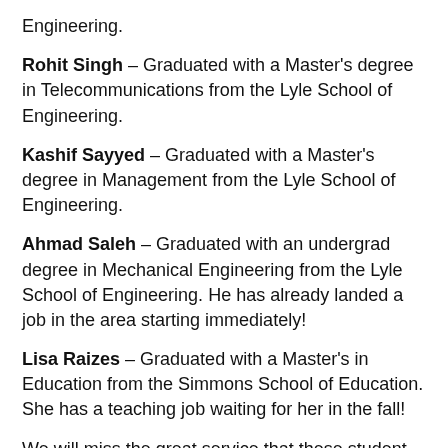Engineering.
Rohit Singh – Graduated with a Master's degree in Telecommunications from the Lyle School of Engineering.
Kashif Sayyed – Graduated with a Master's degree in Management from the Lyle School of Engineering.
Ahmad Saleh – Graduated with an undergrad degree in Mechanical Engineering from the Lyle School of Engineering. He has already landed a job in the area starting immediately!
Lisa Raizes – Graduated with a Master's in Education from the Simmons School of Education. She has a teaching job waiting for her in the fall!
We will miss the great service that these student assistants  have provided the patrons of Hamon Arts Library and the relationships we fostered with them